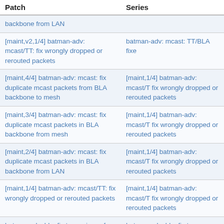| Patch | Series |
| --- | --- |
| backbone from LAN |  |
| [maint,v2,1/4] batman-adv: mcast/TT: fix wrongly dropped or rerouted packets | batman-adv: mcast: TT/BLA fixe |
| [maint,4/4] batman-adv: mcast: fix duplicate mcast packets from BLA backbone to mesh | [maint,1/4] batman-adv: mcast/T fix wrongly dropped or rerouted packets |
| [maint,3/4] batman-adv: mcast: fix duplicate mcast packets in BLA backbone from mesh | [maint,1/4] batman-adv: mcast/T fix wrongly dropped or rerouted packets |
| [maint,2/4] batman-adv: mcast: fix duplicate mcast packets in BLA backbone from LAN | [maint,1/4] batman-adv: mcast/T fix wrongly dropped or rerouted packets |
| [maint,1/4] batman-adv: mcast/TT: fix wrongly dropped or rerouted packets | [maint,1/4] batman-adv: mcast/T fix wrongly dropped or rerouted packets |
| batman-adv: bla: fix type misuse for backbone_gw hash indexing | batman-adv: bla: fix type misuse for backbone_gw hash indexing |
| [5/5] batman-adv: Migrate to linux/prandom.h | [1/5] batman-adv: Start new development cycle |